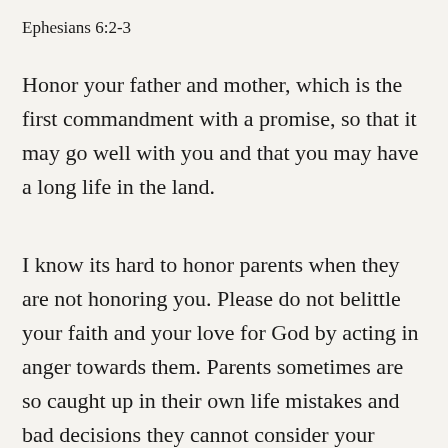Ephesians 6:2-3
Honor your father and mother, which is the first commandment with a promise, so that it may go well with you and that you may have a long life in the land.
I know its hard to honor parents when they are not honoring you. Please do not belittle your faith and your love for God by acting in anger towards them. Parents sometimes are so caught up in their own life mistakes and bad decisions they cannot consider your needs. Give them mercy and pray for them non stop. God will bless you in ways you have never been blessed before.